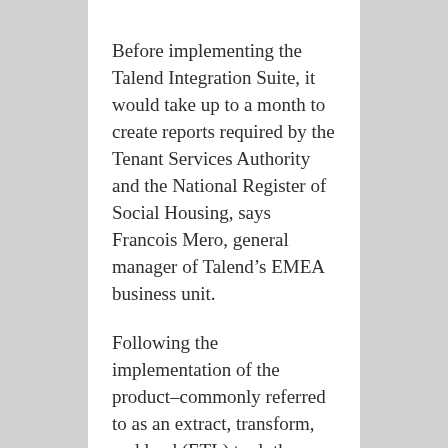Before implementing the Talend Integration Suite, it would take up to a month to create reports required by the Tenant Services Authority and the National Register of Social Housing, says Francois Mero, general manager of Talend’s EMEA business unit.
Following the implementation of the product–commonly referred to as an extract, transform, and load (ETL) tool–the same work could be completed in a day. That has made the job of Andy Gowdy, Accent’s legacy system manager, much easier.
“Talend Integration Suite will provide Accent Group with one common tool for managing its variety of disparate systems, such as its anti-social management system, or its ren…